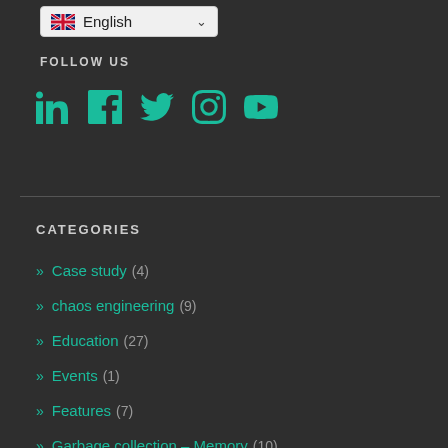[Figure (screenshot): Language selector dropdown showing English with UK flag and chevron]
FOLLOW US
[Figure (infographic): Social media icons: LinkedIn, Facebook, Twitter, Instagram, YouTube — all in teal/green color]
CATEGORIES
» Case study (4)
» chaos engineering (9)
» Education (27)
» Events (1)
» Features (7)
» Garbage collection – Memory (10)
» Learn about Linux (7)